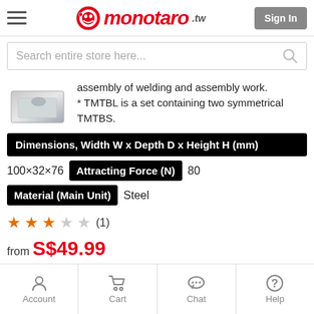monotaro.tw
Search entire store here...
assembly of welding and assembly work. * TMTBL is a set containing two symmetrical TMTBS.
| Dimensions, Width W x Depth D x Height H (mm) | Attracting Force (N) | Value | Material (Main Unit) | Value2 |
| --- | --- | --- | --- | --- |
| 100×32×76 | Attracting Force (N) | 80 | Material (Main Unit) | Steel |
★★★☆☆ (1)
from S$49.99
Shipping Min. 3 days
Account  Cart  Chat  Help